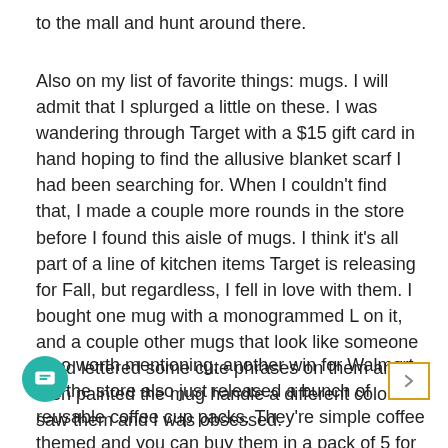to the mall and hunt around there.
Also on my list of favorite things: mugs. I will admit that I splurged a little on these. I was wandering through Target with a $15 gift card in hand hoping to find the allusive blanket scarf I had been searching for. When I couldn't find that, I made a couple more rounds in the store before I found this aisle of mugs. I think it's all part of a line of kitchen items Target is releasing for Fall, but regardless, I fell in love with them. I bought one mug with a monogrammed L on it, and a couple other mugs that look like someone hand lettered some cute phrases on them and then painted the mug handle a different color. I saw them and I was obsessed.
Also worth mentioning, another win for Walmart, but the store also just released a bunch of reusable coffee cup packs. They're simple coffee themed and you can buy them in a pack of 5 for $4. No more having to stop at Starbucks or running upstairs to Outtakes